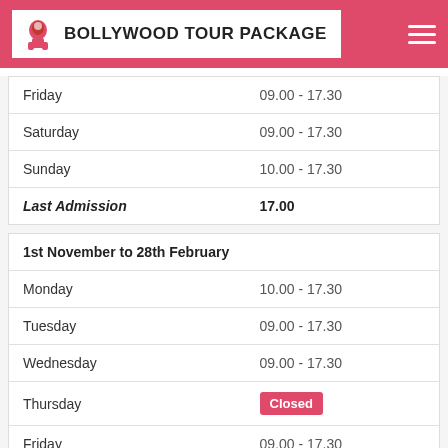BOLLYWOOD TOUR PACKAGE
| Day | Hours |
| --- | --- |
| Friday | 09.00 - 17.30 |
| Saturday | 09.00 - 17.30 |
| Sunday | 10.00 - 17.30 |
| Last Admission | 17.00 |
| 1st November to 28th February |  |
| --- | --- |
| Monday | 10.00 - 17.30 |
| Tuesday | 09.00 - 17.30 |
| Wednesday | 09.00 - 17.30 |
| Thursday | Closed |
| Friday | 09.00 - 17.30 |
| Saturday | 09.00 - 17.30 |